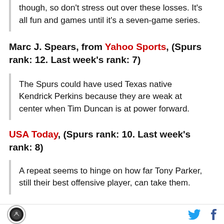Very slim chance San Antonio misses the playoffs, though, so don't stress out over these losses. It's all fun and games until it's a seven-game series.
Marc J. Spears, from Yahoo Sports, (Spurs rank: 12. Last week's rank: 7)
The Spurs could have used Texas native Kendrick Perkins because they are weak at center when Tim Duncan is at power forward.
USA Today, (Spurs rank: 10. Last week's rank: 8)
A repeat seems to hinge on how far Tony Parker, still their best offensive player, can take them.
Logo | Twitter | Facebook